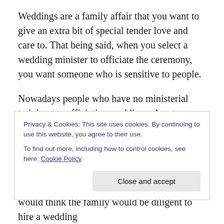Weddings are a family affair that you want to give an extra bit of special tender love and care to. That being said, when you select a wedding minister to officiate the ceremony, you want someone who is sensitive to people.
Nowadays people who have no ministerial training are officiating weddings. A notary may have a degree of legality, but certainly no spirituality or platform presence. As a worldwide professional speaker who has for over 15 years been speaking across the globe, I have heard and seen a lot. I can't tell you often I hear sad stories of special
Privacy & Cookies: This site uses cookies. By continuing to use this website, you agree to their use. To find out more, including how to control cookies, see here: Cookie Policy
Close and accept
would think the family would be diligent to hire a wedding